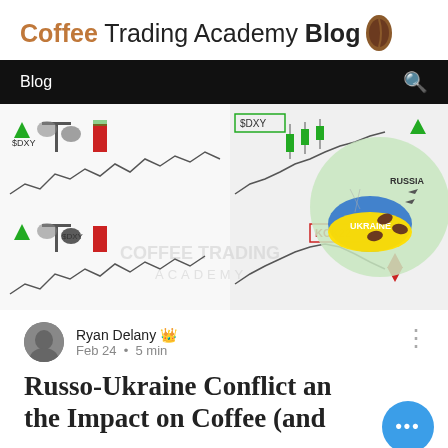Coffee Trading Academy Blog
[Figure (screenshot): Navigation bar with 'Blog' text on dark background and a search icon]
[Figure (infographic): Composite image showing DXY vs coffee trading charts with scale icons, KCK22 chart with red down arrow, and a map highlighting Ukraine and Russia with military aircraft and coffee bean icons]
Ryan Delany 👑
Feb 24 · 5 min
Russo-Ukraine Conflict and the Impact on Coffee (and